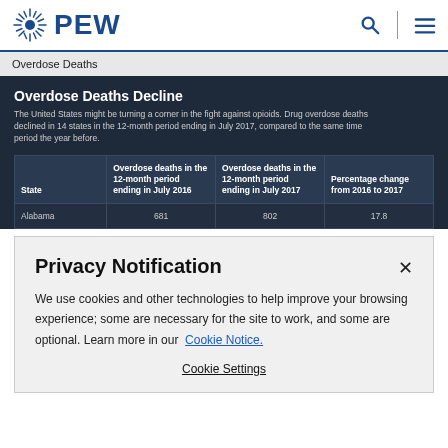PEW
Overdose Deaths
Overdose Deaths Decline
The United States might be turning a corner in the fight against opioids. Drug overdose deaths declined in 14 states in the 12-month period ending in July 2017, compared to the same time period the year before.
| State | Overdose deaths in the 12-month period ending in July 2016 | Overdose deaths in the 12-month period ending in July 2017 | Percentage change from 2016 to 2017 |
| --- | --- | --- | --- |
| Alabama | 681 | 802 | 17.8 |
Privacy Notification
We use cookies and other technologies to help improve your browsing experience; some are necessary for the site to work, and some are optional. Learn more in our Cookie Notice.
Cookie Settings